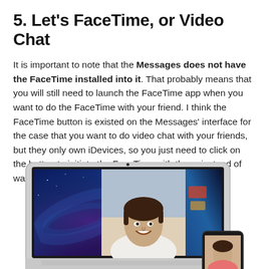5. Let's FaceTime, or Video Chat
It is important to note that the Messages does not have the FaceTime installed into it. That probably means that you will still need to launch the FaceTime app when you want to do the FaceTime with your friend. I think the FaceTime button is existed on the Messages' interface for the case that you want to do video chat with your friends, but they only own iDevices, so you just need to click on the button to initiate the FaceTime with them, instead of wasting one more icon space on your docking bar.
[Figure (photo): Screenshot of FaceTime video call on a MacBook Air showing a smiling young man with dark hair, with a galaxy/space wallpaper visible. An iPhone showing a person is partially visible at the bottom right corner.]